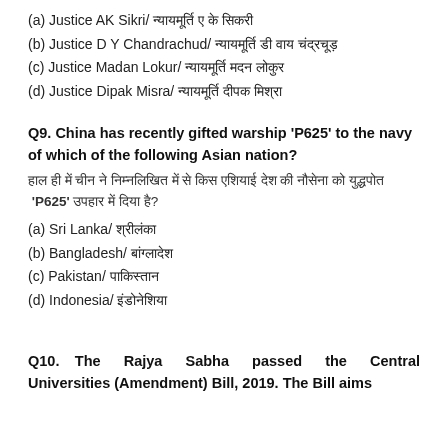(a) Justice AK Sikri/ न्यायमूर्ति ए के सिकरी
(b) Justice D Y Chandrachud/ न्यायमूर्ति डी वाय चंद्रचूड़
(c) Justice Madan Lokur/ न्यायमूर्ति मदन लोकुर
(d) Justice Dipak Misra/ न्यायमूर्ति दीपक मिश्रा
Q9. China has recently gifted warship 'P625' to the navy of which of the following Asian nation?
हाल ही में चीन ने निम्नलिखित में से किस एशियाई देश की नौसेना को युद्धपोत 'P625' उपहार में दिया है?
(a) Sri Lanka/ श्रीलंका
(b) Bangladesh/ बांग्लादेश
(c) Pakistan/ पाकिस्तान
(d) Indonesia/ इंडोनेशिया
Q10. The Rajya Sabha passed the Central Universities (Amendment) Bill, 2019. The Bill aims